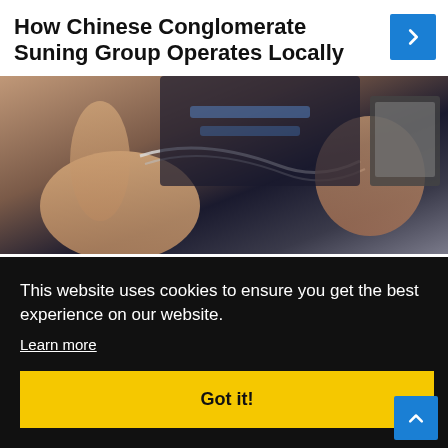How Chinese Conglomerate Suning Group Operates Locally
[Figure (photo): Close-up photo of a person's hands holding electronic cables/connectors, with a dark background and electronic device visible]
Credit
Recently, Suning International kicked off its
This website uses cookies to ensure you get the best experience on our website.
Learn more
Got it!